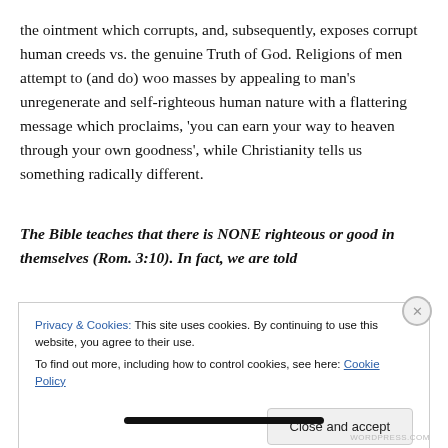the ointment which corrupts, and, subsequently, exposes corrupt human creeds vs. the genuine Truth of God. Religions of men attempt to (and do) woo masses by appealing to man's unregenerate and self-righteous human nature with a flattering message which proclaims, 'you can earn your way to heaven through your own goodness', while Christianity tells us something radically different.
The Bible teaches that there is NONE righteous or good in themselves (Rom. 3:10). In fact, we are told
Privacy & Cookies: This site uses cookies. By continuing to use this website, you agree to their use.
To find out more, including how to control cookies, see here: Cookie Policy
Close and accept